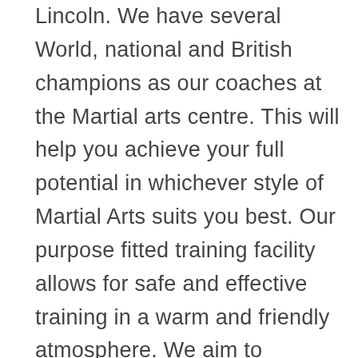Lincoln. We have several World, national and British champions as our coaches at the Martial arts centre. This will help you achieve your full potential in whichever style of Martial Arts suits you best. Our purpose fitted training facility allows for safe and effective training in a warm and friendly atmosphere. We aim to develop the skills of each student in martial arts whilst instilling discipline, respect, self control and courtesy; values that are sadly lacking in today's society. With classes available to children and adults, why not come along and meet some of the trainers and students. The first lesson across our disciplines is usually free. It will give you the opportunity to explore Martial Arts, talk to us, watch us, ask questions and decide if it is for you! Whether you want to train just for fun, or to enter competitions and train competitively, we